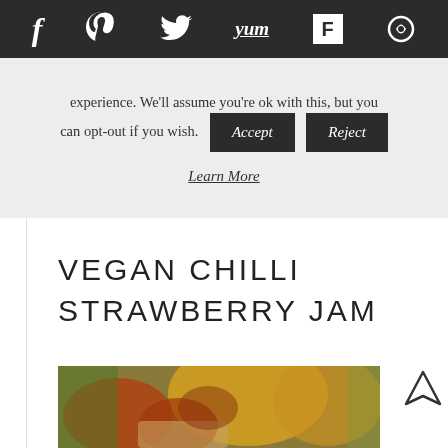Social media toolbar: f (Facebook), P (Pinterest), Twitter bird, Yum, Flipboard, circle icon
experience. We'll assume you're ok with this, but you can opt-out if you wish.
Accept | Reject
Learn More
VEGAN CHILLI STRAWBERRY JAM
[Figure (photo): Hands preparing chilli and strawberry ingredients on a cutting board, with yellow fruits in the background]